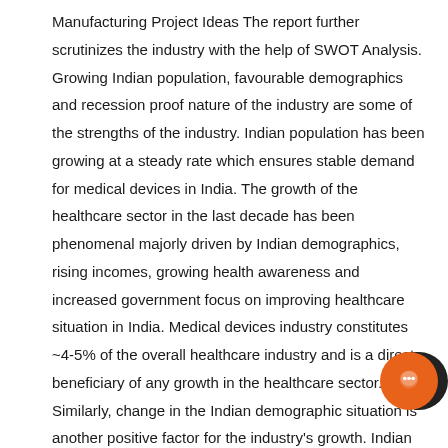Manufacturing Project Ideas The report further scrutinizes the industry with the help of SWOT Analysis. Growing Indian population, favourable demographics and recession proof nature of the industry are some of the strengths of the industry. Indian population has been growing at a steady rate which ensures stable demand for medical devices in India. The growth of the healthcare sector in the last decade has been phenomenal majorly driven by Indian demographics, rising incomes, growing health awareness and increased government focus on improving healthcare situation in India. Medical devices industry constitutes ~4-5% of the overall healthcare industry and is a direct beneficiary of any growth in the healthcare sector. Similarly, change in the Indian demographic situation is another positive factor for the industry's growth. Indian market offers immense opportunities for sector to tap in terms of rising incomes, escalating government spending on healthcare and low penetration of medical devices in the